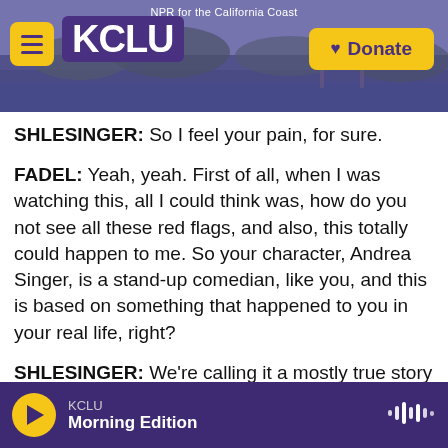NPR for the California Coast | KCLU | Donate
SHLESINGER: So I feel your pain, for sure.
FADEL: Yeah, yeah. First of all, when I was watching this, all I could think was, how do you not see all these red flags, and also, this totally could happen to me. So your character, Andrea Singer, is a stand-up comedian, like you, and this is based on something that happened to you in your real life, right?
SHLESINGER: We're calling it a mostly true story based on a lie. This did happen. I don't think I could make up this level of insanity. And, you know, the
KCLU Morning Edition